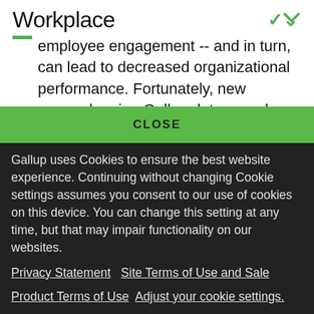Workplace
employee engagement -- and in turn, can lead to decreased organizational performance. Fortunately, new research using Gallup data reveals a promising remedy: supervisor support.
CLOSE
Gallup uses Cookies to ensure the best website experience. Continuing without changing Cookie settings assumes you consent to our use of cookies on this device. You can change this setting at any time, but that may impair functionality on our websites.
Privacy Statement   Site Terms of Use and Sale
Product Terms of Use   Adjust your cookie settings.